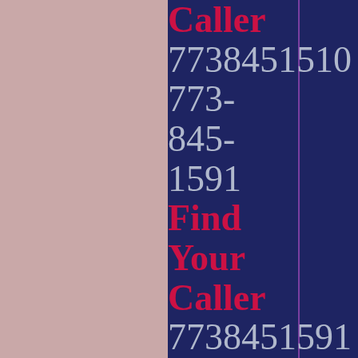Caller 7738451510 773- 845- 1591 Find Your Caller 7738451591 773- 845- 1555 Find Your Caller 7738451555